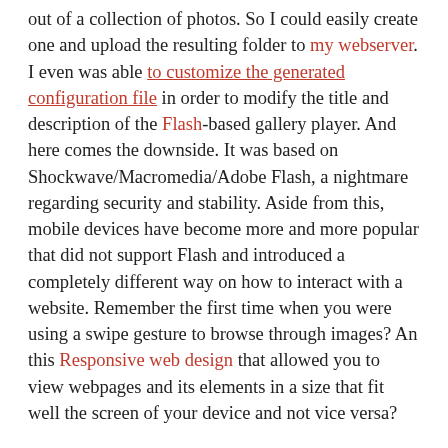out of a collection of photos. So I could easily create one and upload the resulting folder to my webserver. I even was able to customize the generated configuration file in order to modify the title and description of the Flash-based gallery player. And here comes the downside. It was based on Shockwave/Macromedia/Adobe Flash, a nightmare regarding security and stability. Aside from this, mobile devices have become more and more popular that did not support Flash and introduced a completely different way on how to interact with a website. Remember the first time when you were using a swipe gesture to browse through images? An this Responsive web design that allowed you to view webpages and its elements in a size that fit well the screen of your device and not vice versa?
A new technology was needed. On my shopping list I had of course a Free Software-compatible license. It must be simple with no overhead like yet another LAMP-based websuite that needs to be maintained in addition to my other sites. Most